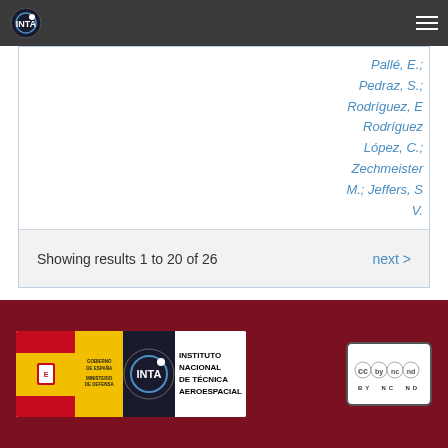INTA navigation bar
Pallé, E.; Pedraz, S.; Rodríguez, E.; Rodríguez López, C.; Zechmeister, M.; Jeffers, S. V.
Showing results 1 to 20 of 26   next >
Instituto Nacional de Técnica Aeroespacial — CC BY NC ND